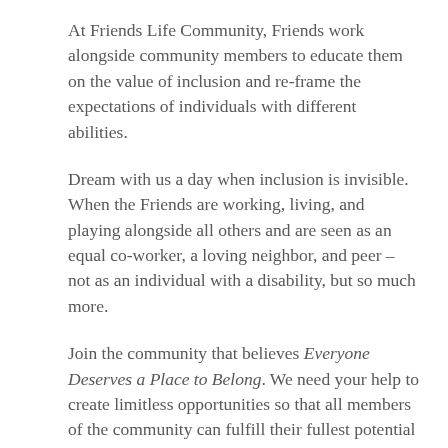At Friends Life Community, Friends work alongside community members to educate them on the value of inclusion and re-frame the expectations of individuals with different abilities.
Dream with us a day when inclusion is invisible. When the Friends are working, living, and playing alongside all others and are seen as an equal co-worker, a loving neighbor, and peer – not as an individual with a disability, but so much more.
Join the community that believes Everyone Deserves a Place to Belong. We need your help to create limitless opportunities so that all members of the community can fulfill their fullest potential and feel Present, Invited, Welcomed, Known, Accepted, Supported, Cared For, Befriended, Needed, and LOVED.